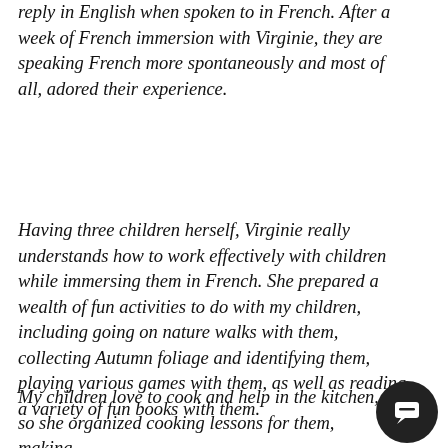reply in English when spoken to in French. After a week of French immersion with Virginie, they are speaking French more spontaneously and most of all, adored their experience.
Having three children herself, Virginie really understands how to work effectively with children while immersing them in French. She prepared a wealth of fun activities to do with my children, including going on nature walks with them, collecting Autumn foliage and identifying them, playing various games with them, as well as reading a variety of fun books with them.
My children love to cook and help in the kitchen, so she organized cooking lessons for them, making